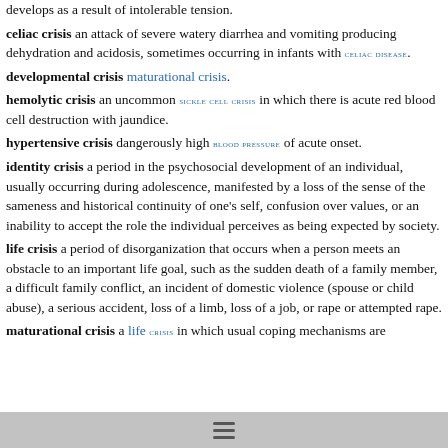develops as a result of intolerable tension.
celiac crisis an attack of severe watery diarrhea and vomiting producing dehydration and acidosis, sometimes occurring in infants with CELIAC DISEASE.
developmental crisis maturational crisis.
hemolytic crisis an uncommon SICKLE CELL CRISIS in which there is acute red blood cell destruction with jaundice.
hypertensive crisis dangerously high BLOOD PRESSURE of acute onset.
identity crisis a period in the psychosocial development of an individual, usually occurring during adolescence, manifested by a loss of the sense of the sameness and historical continuity of one's self, confusion over values, or an inability to accept the role the individual perceives as being expected by society.
life crisis a period of disorganization that occurs when a person meets an obstacle to an important life goal, such as the sudden death of a family member, a difficult family conflict, an incident of domestic violence (spouse or child abuse), a serious accident, loss of a limb, loss of a job, or rape or attempted rape.
maturational crisis a life crisis in which usual coping mechanisms are...